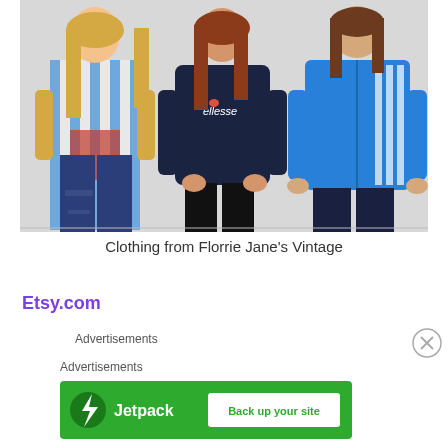[Figure (photo): Three people modeling vintage clothing against a white background. Left: young woman with long blonde hair wearing a blue and white striped shirt and ripped jeans. Center: young woman with long auburn hair wearing a navy ellesse sweatshirt and black leggings. Right: young man with long brown hair wearing a bright blue Adidas zip-up jacket and dark jeans.]
Clothing from Florrie Jane's Vintage
Etsy.com
Advertisements
Advertisements
[Figure (other): Jetpack advertisement banner with green background, Jetpack logo (lightning bolt icon), and a white button reading 'Back up your site']